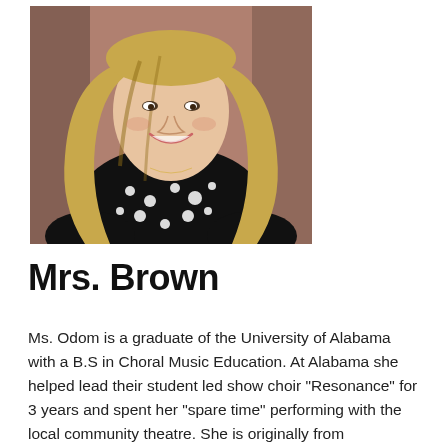[Figure (photo): Portrait photo of Mrs. Brown (Ms. Odom), a smiling woman with long blonde wavy hair wearing a black and white polka dot dress, photographed against a warm brown background.]
Mrs. Brown
Ms. Odom is a graduate of the University of Alabama with a B.S in Choral Music Education. At Alabama she helped lead their student led show choir "Resonance" for 3 years and spent her "spare time" performing with the local community theatre. She is originally from